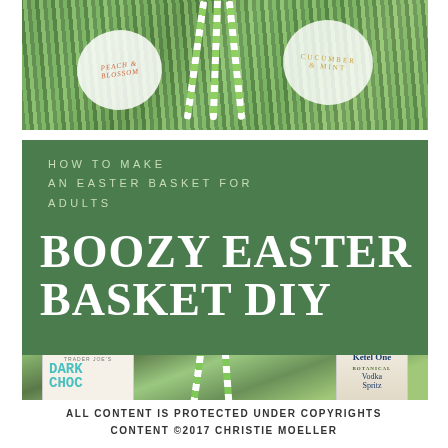[Figure (photo): Top-down photo of flavored beverages (Peach & Blossom, Cucumber & Mint) surrounded by green grass filler and striped straws]
HOW TO MAKE AN EASTER BASKET FOR ADULTS
BOOZY EASTER BASKET DIY
[Figure (photo): Easter basket photo featuring Trader Joe's Dark Chocolate Bar and Ketel One Botanical Vodka Spritz cans with green grass filler and striped straws]
ALL CONTENT IS PROTECTED UNDER COPYRIGHTS CONTENT ©2017 CHRISTIE MOELLER